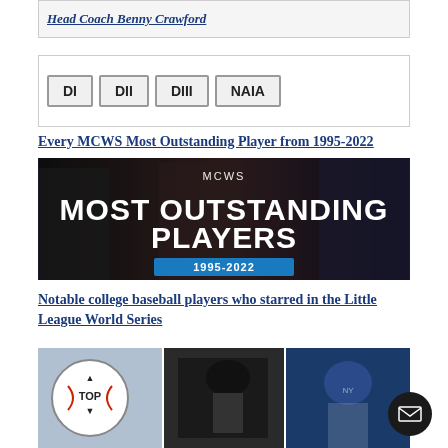Head Coach Benny Crawford
DI  DII  DIII  NAIA
Every MCWS Most Outstanding Player from 1995-2022
[Figure (photo): MCWS Most Outstanding Players 1995-2022 graphic with baseball players in background and bold white text overlay]
Notable college baseball players who starred in the Little League World Series
[Figure (photo): Collage of three photos: a young boy smiling, a baseball player batting, and a New York Mets player celebrating. A baseball 'TOP' button icon is overlaid on the left.]